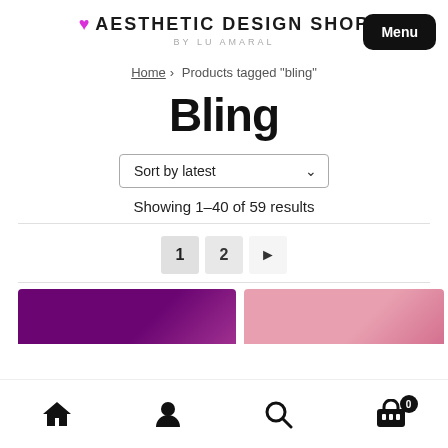❤ AESTHETIC DESIGN SHOP BY LU AMARAL
Home > Products tagged "bling"
Bling
Sort by latest
Showing 1–40 of 59 results
1  2  ▶
[Figure (photo): Partial product images at bottom: purple and pink items]
Home | Account | Search | Cart (0)